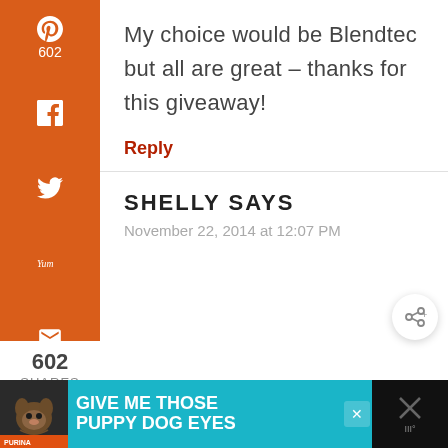My choice would be Blendtec but all are great – thanks for this giveaway!
Reply
SHELLY SAYS
November 22, 2014 at 12:07 PM
[Figure (other): Advertisement banner: GIVE ME THOSE PUPPY DOG EYES with dog image]